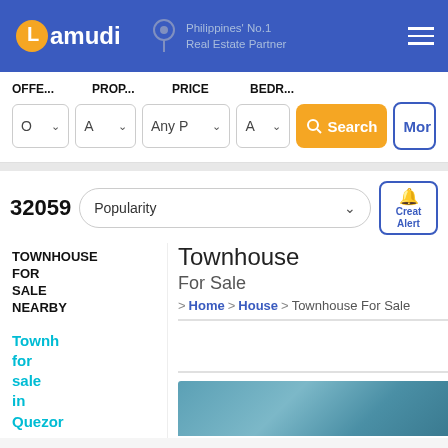Lamudi — Philippines' No.1 Real Estate Partner
OFFE... PROP... PRICE BEDR...
O ∨  A ∨  Any P ∨  A ∨  Search  More
32059
Popularity
Create Alert
TOWNHOUSE FOR SALE NEARBY
Townhouse
For Sale
Home > House > Townhouse For Sale
Townh for sale in Quezor